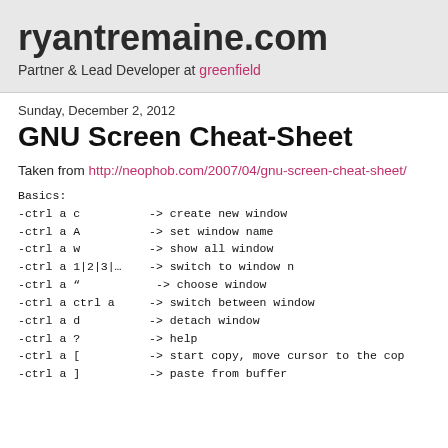ryantremaine.com
Partner & Lead Developer at greenfield
Sunday, December 2, 2012
GNU Screen Cheat-Sheet
Taken from http://neophob.com/2007/04/gnu-screen-cheat-sheet/
Basics:
-ctrl a c        -> create new window
-ctrl a A        -> set window name
-ctrl a w        -> show all window
-ctrl a 1|2|3|…  -> switch to window n
-ctrl a "        -> choose window
-ctrl a ctrl a   -> switch between window
-ctrl a d        -> detach window
-ctrl a ?        -> help
-ctrl a [        -> start copy, move cursor to the cop
-ctrl a ]        -> paste from buffer